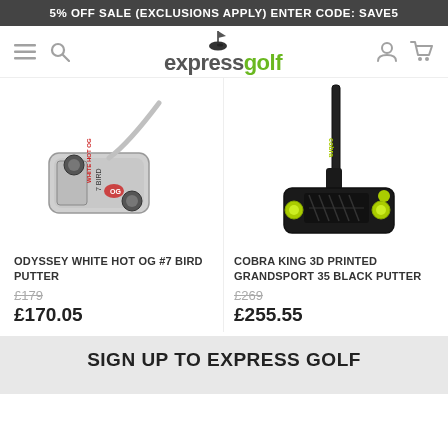5% OFF SALE (EXCLUSIONS APPLY) ENTER CODE: SAVE5
[Figure (logo): ExpressGolf logo with golf ball and flag icon above text 'expressgolf']
[Figure (photo): Odyssey White Hot OG #7 Bird Putter - silver/chrome mallet putter]
ODYSSEY WHITE HOT OG #7 BIRD PUTTER
£179 (was price, strikethrough)
£170.05
[Figure (photo): Cobra King 3D Printed Grandsport 35 Black Putter - black blade putter with lime accents]
COBRA KING 3D PRINTED GRANDSPORT 35 BLACK PUTTER
£269 (was price, strikethrough)
£255.55
SIGN UP TO EXPRESS GOLF